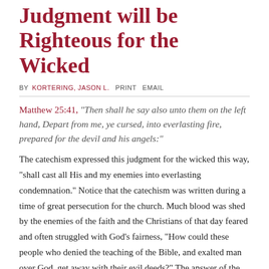Judgment will be Righteous for the Wicked
BY  KORTERING, JASON L.  PRINT  EMAIL
Matthew 25:41, "Then shall he say also unto them on the left hand, Depart from me, ye cursed, into everlasting fire, prepared for the devil and his angels:"
The catechism expressed this judgment for the wicked this way, "shall cast all His and my enemies into everlasting condemnation." Notice that the catechism was written during a time of great persecution for the church. Much blood was shed by the enemies of the faith and the Christians of that day feared and often struggled with God’s fairness, “How could these people who denied the teaching of the Bible, and exalted man over God, get away with their evil deeds?” The answer of the catechism reminds them that at the end of the world, when Jesus will come again, He will function as their judge at the final judgment. He will say to their enemies, “Depart from me, ye cursed, into